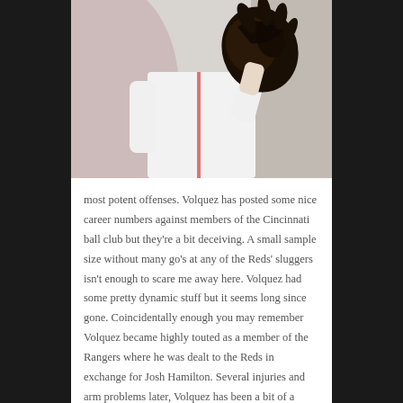[Figure (photo): Baseball pitcher in white jersey holding a dark leather glove, cropped to torso/glove area]
most potent offenses. Volquez has posted some nice career numbers against members of the Cincinnati ball club but they're a bit deceiving. A small sample size without many go's at any of the Reds' sluggers isn't enough to scare me away here. Volquez had some pretty dynamic stuff but it seems long since gone. Coincidentally enough you may remember Volquez became highly touted as a member of the Rangers where he was dealt to the Reds in exchange for Josh Hamilton. Several injuries and arm problems later, Volquez has been a bit of a punching bag around the league this year where he has had to eat up innings for San Diego en route to a WHIP of